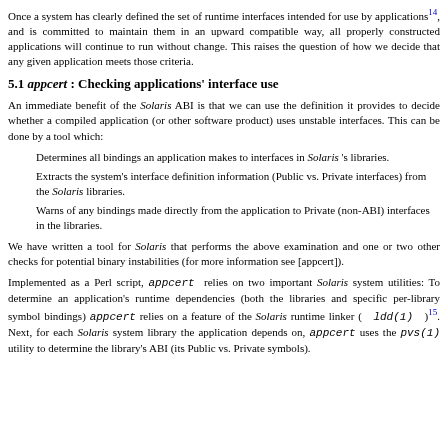Once a system has clearly defined the set of runtime interfaces intended for use by applications14, and is committed to maintain them in an upward compatible way, all properly constructed applications will continue to run without change. This raises the question of how we decide that any given application meets those criteria.
5.1 appcert : Checking applications' interface use
An immediate benefit of the Solaris ABI is that we can use the definition it provides to decide whether a compiled application (or other software product) uses unstable interfaces. This can be done by a tool which:
Determines all bindings an application makes to interfaces in Solaris 's libraries.
Extracts the system's interface definition information (Public vs. Private interfaces) from the Solaris libraries.
Warns of any bindings made directly from the application to Private (non-ABI) interfaces in the libraries.
We have written a tool for Solaris that performs the above examination and one or two other checks for potential binary instabilities (for more information see [appcert]).
Implemented as a Perl script, appcert relies on two important Solaris system utilities: To determine an application's runtime dependencies (both the libraries and specific per-library symbol bindings) appcert relies on a feature of the Solaris runtime linker ( ldd(1) )15. Next, for each Solaris system library the application depends on, appcert uses the pvs(1) utility to determine the library's ABI (its Public vs. Private symbols).